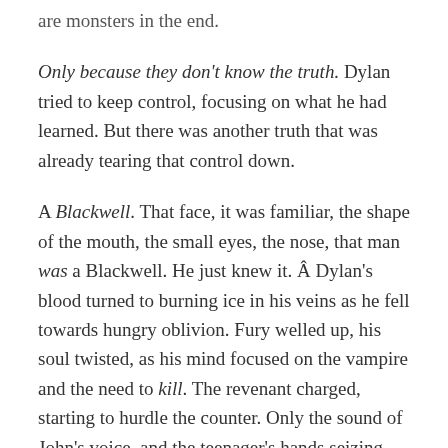are monsters in the end.
Only because they don't know the truth. Dylan tried to keep control, focusing on what he had learned. But there was another truth that was already tearing that control down.
A Blackwell. That face, it was familiar, the shape of the mouth, the small eyes, the nose, that man was a Blackwell. He just knew it. Â Dylan's blood turned to burning ice in his veins as he fell towards hungry oblivion. Fury welled up, his soul twisted, as his mind focused on the vampire and the need to kill. The revenant charged, starting to hurdle the counter. Only the sound of John's voice, and the teenager's hands seizing him by the arms gave him the slightest connection to sanity.
Dylan...